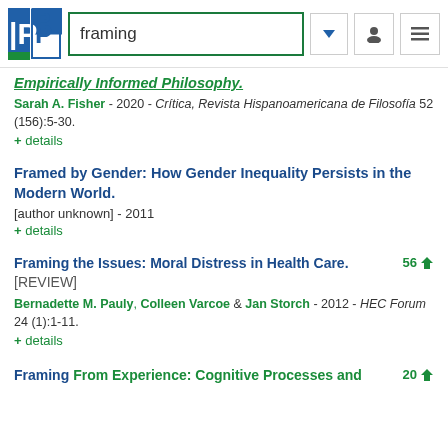framing
Empirically Informed Philosophy.
Sarah A. Fisher - 2020 - Crítica, Revista Hispanoamericana de Filosofía 52 (156):5-30.
+ details
Framed by Gender: How Gender Inequality Persists in the Modern World.
[author unknown] - 2011
+ details
Framing the Issues: Moral Distress in Health Care. [REVIEW]
56 downloads
Bernadette M. Pauly, Colleen Varcoe & Jan Storch - 2012 - HEC Forum 24 (1):1-11.
+ details
Framing From Experience: Cognitive Processes and
20 downloads